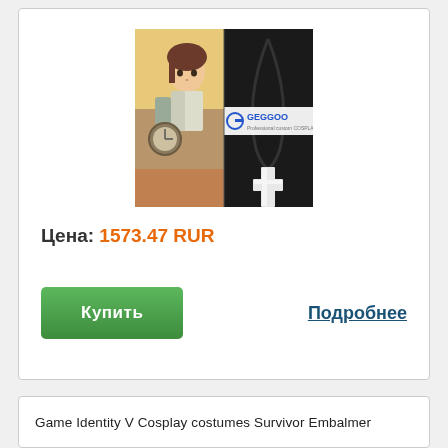[Figure (photo): Product listing image: left half shows anime character (Identity V Embalmer cosplay art), right half shows a silver cross necklace on black cord. GEGGOO brand logo visible in center.]
Цена: 1573.47 RUR
Купить
Подробнее
Game Identity V Cosplay costumes Survivor Embalmer